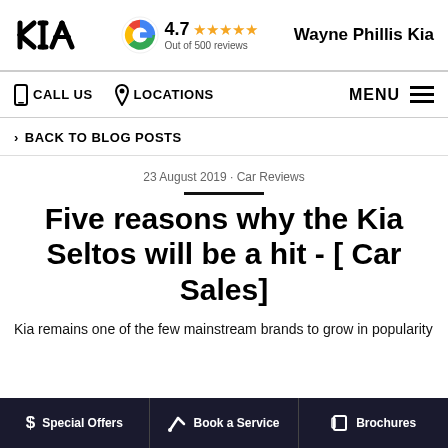Kia logo | 4.7 Out of 500 reviews | Wayne Phillis Kia
CALL US | LOCATIONS | MENU
> BACK TO BLOG POSTS
23 August 2019 · Car Reviews
Five reasons why the Kia Seltos will be a hit - [ Car Sales]
Kia remains one of the few mainstream brands to grow in popularity
$ Special Offers | Book a Service | Brochures